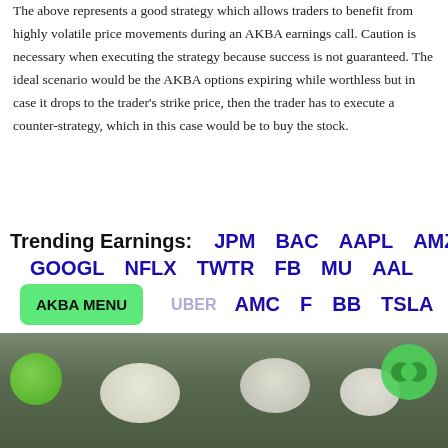The above represents a good strategy which allows traders to benefit from highly volatile price movements during an AKBA earnings call. Caution is necessary when executing the strategy because success is not guaranteed. The ideal scenario would be the AKBA options expiring while worthless but in case it drops to the trader's strike price, then the trader has to execute a counter-strategy, which in this case would be to buy the stock.
Trending Earnings: JPM BAC AAPL AMZN GOOGL NFLX TWTR FB MU AAL AKBA MENU UBER AMC F BB TSLA INTC
[Figure (photo): Blurred photo of small round tablets/pills on a surface, partially visible at bottom of page]